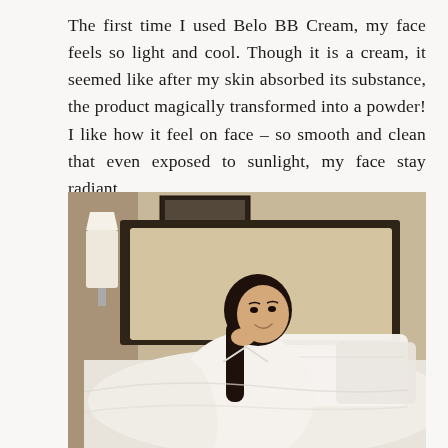The first time I used Belo BB Cream, my face feels so light and cool. Though it is a cream, it seemed like after my skin absorbed its substance, the product magically transformed into a powder! I like how it feel on face – so smooth and clean that even exposed to sunlight, my face stay radiant.
[Figure (photo): A young woman wearing a white robe/shirt sitting on a hotel bed with white bedding and pillows, smiling, with a beige hotel room headboard and wall visible in the background, a lamp on the left, and a picture frame on the wall behind.]